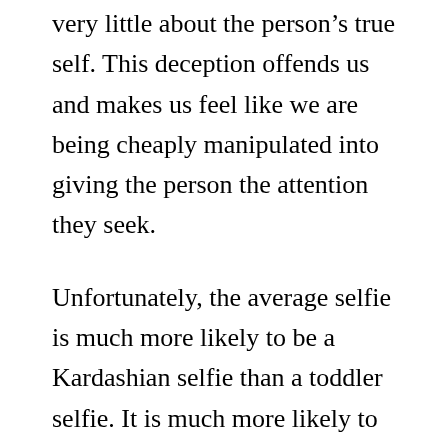very little about the person's true self. This deception offends us and makes us feel like we are being cheaply manipulated into giving the person the attention they seek.
Unfortunately, the average selfie is much more likely to be a Kardashian selfie than a toddler selfie. It is much more likely to be self-promotion driven than pure appreciation/expression driven. I think this is why we have the gut feeling that something is inherently